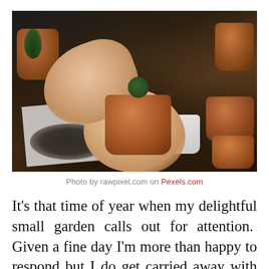[Figure (photo): Overhead photo of a person's hands with soil on them, holding a small terracotta pot with a cactus being planted. Multiple terracotta pots, a white pot, and various succulents and cacti are visible on a surface covered with black and white newspaper.]
Photo by rawpixel.com on Pexels.com
It's that time of year when my delightful small garden calls out for attention.  Given a fine day I'm more than happy to respond but I do get carried away with my enthusiasm. I know I'm old